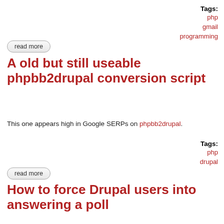Tags:
php
gmail
programming
read more
A old but still useable phpbb2drupal conversion script
This one appears high in Google SERPs on phpbb2drupal.
Tags:
php
drupal
read more
How to force Drupal users into answering a poll